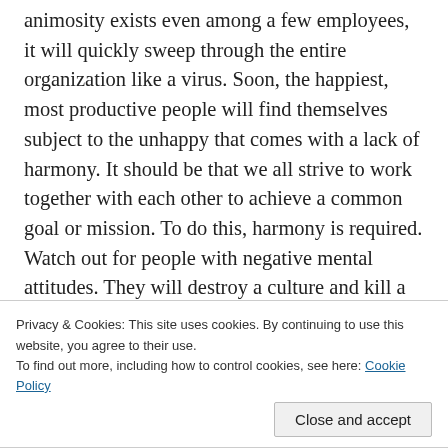animosity exists even among a few employees, it will quickly sweep through the entire organization like a virus. Soon, the happiest, most productive people will find themselves subject to the unhappy that comes with a lack of harmony. It should be that we all strive to work together with each other to achieve a common goal or mission. To do this, harmony is required. Watch out for people with negative mental attitudes. They will destroy a culture and kill a business. My advice would be to look closely at your own actions and beliefs to make sure that you are not the one guilty of a negative mental attitude. Hint: if you
Privacy & Cookies: This site uses cookies. By continuing to use this website, you agree to their use.
To find out more, including how to control cookies, see here: Cookie Policy
Close and accept